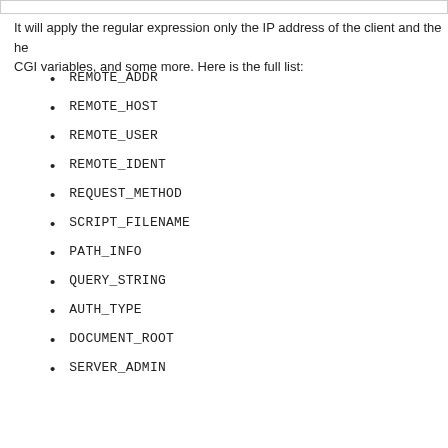It will apply the regular expression only the IP address of the client and the he CGI variables, and some more. Here is the full list:
REMOTE_ADDR
REMOTE_HOST
REMOTE_USER
REMOTE_IDENT
REQUEST_METHOD
SCRIPT_FILENAME
PATH_INFO
QUERY_STRING
AUTH_TYPE
DOCUMENT_ROOT
SERVER_ADMIN